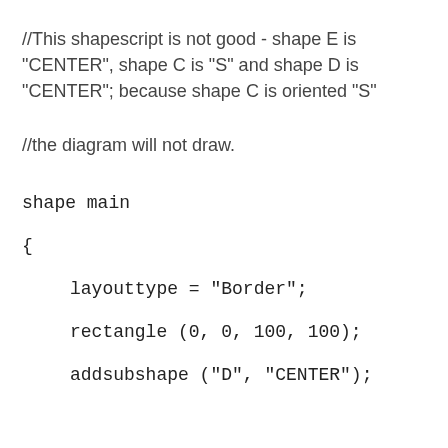//This shapescript is not good - shape E is "CENTER", shape C is "S" and shape D is "CENTER"; because shape C is oriented "S"
//the diagram will not draw.
shape main
{
layouttype = "Border";
rectangle (0, 0, 100, 100);
addsubshape ("D", "CENTER");